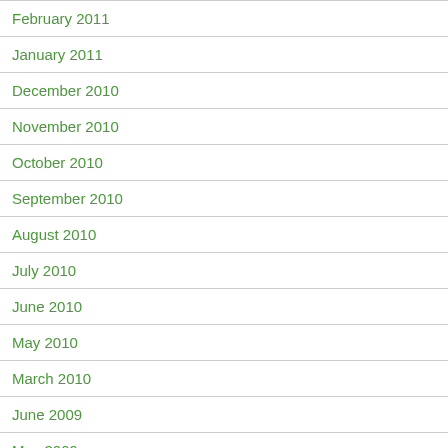February 2011
January 2011
December 2010
November 2010
October 2010
September 2010
August 2010
July 2010
June 2010
May 2010
March 2010
June 2009
May 2009